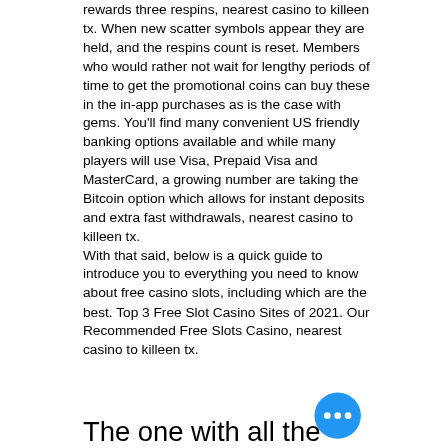rewards three respins, nearest casino to killeen tx. When new scatter symbols appear they are held, and the respins count is reset. Members who would rather not wait for lengthy periods of time to get the promotional coins can buy these in the in-app purchases as is the case with gems. You'll find many convenient US friendly banking options available and while many players will use Visa, Prepaid Visa and MasterCard, a growing number are taking the Bitcoin option which allows for instant deposits and extra fast withdrawals, nearest casino to killeen tx.
With that said, below is a quick guide to introduce you to everything you need to know about free casino slots, including which are the best. Top 3 Free Slot Casino Sites of 2021. Our Recommended Free Slots Casino, nearest casino to killeen tx.
The one with all the poker